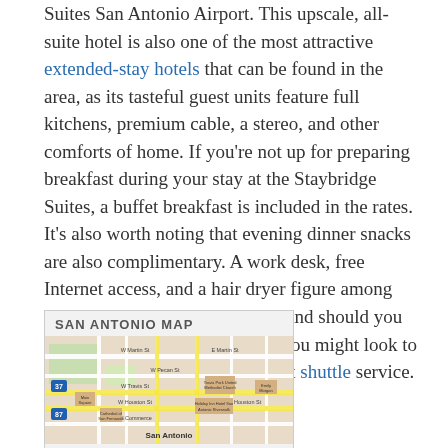Suites San Antonio Airport. This upscale, all-suite hotel is also one of the most attractive extended-stay hotels that can be found in the area, as its tasteful guest units feature full kitchens, premium cable, a stereo, and other comforts of home. If you're not up for preparing breakfast during your stay at the Staybridge Suites, a buffet breakfast is included in the rates. It's also worth noting that evening dinner snacks are also complimentary. A work desk, free Internet access, and a hair dryer figure among the other convenient amenities, and should you be arriving to town on a flight, you might look to take advantage of the free airport shuttle service.
[Figure (map): San Antonio Map showing street grid around downtown San Antonio including W Martin St, E Martin St, W Pecan St, W Travis St, W Houston St, Cathedral of San Fernando, Holiday Inn Hotel San Antonio Riverwalk, Travis Park United Methodist Church, Emily Morgan, and San Antonio label at bottom.]